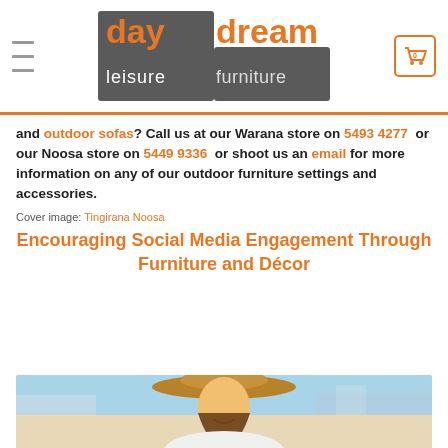Daydream Leisure Furniture — site header with logo and cart
and outdoor sofas? Call us at our Warana store on 5493 4277 or our Noosa store on 5449 9336 or shoot us an email for more information on any of our outdoor furniture settings and accessories.
Cover image: Tingirana Noosa
Encouraging Social Media Engagement Through Furniture and Décor
[Figure (photo): Woman in a large sun hat smiling outdoors, possibly taking a selfie, with a seaside/outdoor venue in the background]